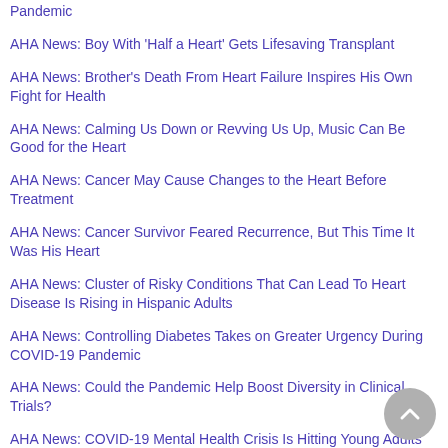Pandemic
AHA News: Boy With 'Half a Heart' Gets Lifesaving Transplant
AHA News: Brother's Death From Heart Failure Inspires His Own Fight for Health
AHA News: Calming Us Down or Revving Us Up, Music Can Be Good for the Heart
AHA News: Cancer May Cause Changes to the Heart Before Treatment
AHA News: Cancer Survivor Feared Recurrence, But This Time It Was His Heart
AHA News: Cluster of Risky Conditions That Can Lead To Heart Disease Is Rising in Hispanic Adults
AHA News: Controlling Diabetes Takes on Greater Urgency During COVID-19 Pandemic
AHA News: Could the Pandemic Help Boost Diversity in Clinical Trials?
AHA News: COVID-19 Mental Health Crisis Is Hitting Young Adults